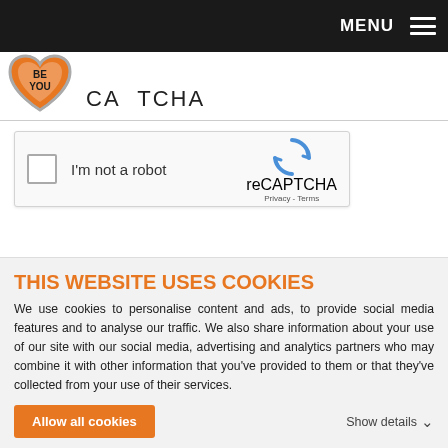MENU
[Figure (logo): Be You heart logo - orange heart shape with white text BE YOU inside]
CAPTCHA
[Figure (screenshot): reCAPTCHA widget with checkbox labeled I'm not a robot, reCAPTCHA logo, Privacy and Terms links]
THIS WEBSITE USES COOKIES
We use cookies to personalise content and ads, to provide social media features and to analyse our traffic. We also share information about your use of our site with our social media, advertising and analytics partners who may combine it with other information that you've provided to them or that they've collected from your use of their services.
Allow all cookies
Show details